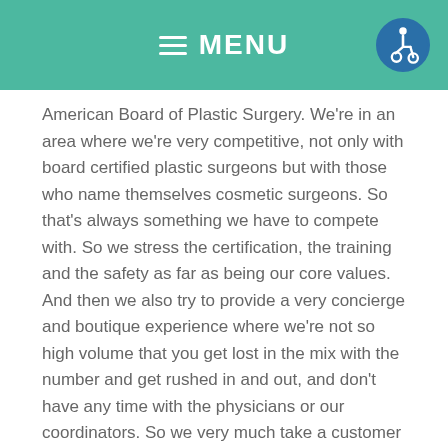MENU
American Board of Plastic Surgery. We're in an area where we're very competitive, not only with board certified plastic surgeons but with those who name themselves cosmetic surgeons. So that's always something we have to compete with. So we stress the certification, the training and the safety as far as being our core values. And then we also try to provide a very concierge and boutique experience where we're not so high volume that you get lost in the mix with the number and get rushed in and out, and don't have any time with the physicians or our coordinators. So we very much take a customer service oriented boutique approach.
Dr. Gallus: Yeah. And I would say as a female plastic